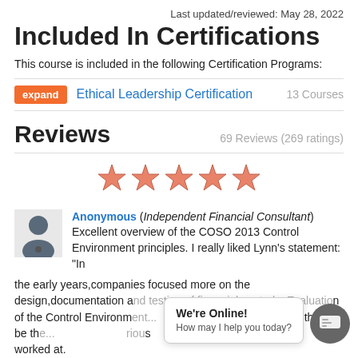Last updated/reviewed: May 28, 2022
Included In Certifications
This course is included in the following Certification Programs:
expand  Ethical Leadership Certification  13 Courses
Reviews  69 Reviews (269 ratings)
[Figure (other): Five orange star rating icons displayed in a row]
Anonymous (Independent Financial Consultant) Excellent overview of the COSO 2013 Control Environment principles. I really liked Lynn's statement: "In the early years,companies focused more on the design,documentation and testing of financial controls. Evaluation of the Control Environment... He... have found this to be the... various... worked at.
We're Online! How may I help you today?